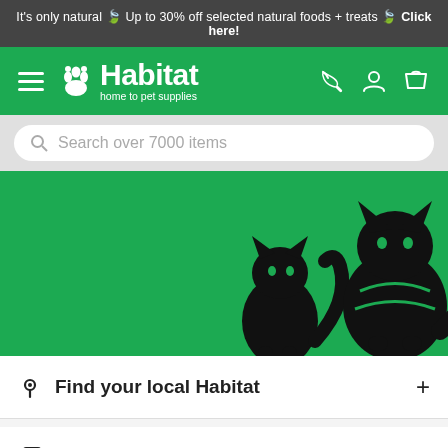It's only natural 🍃 Up to 30% off selected natural foods + treats 🍃 Click here!
[Figure (logo): Habitat pet supplies logo with paw icon, white on green navigation bar with hamburger menu, phone, account, and cart icons]
Search over 7000 items
[Figure (illustration): Green banner with black silhouette illustrations of two cats]
Find your local Habitat
In-Store Services
Support
Live Chat